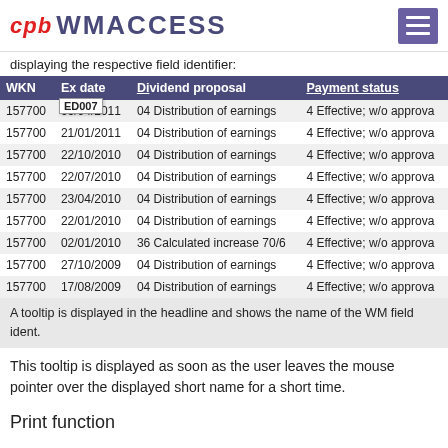cpb WMACCESS
displaying the respective field identifier:
| WKN | Ex date | Dividend proposal | Payment status |
| --- | --- | --- | --- |
| 157700 | 06/04/2011 | 04 Distribution of earnings | 4 Effective; w/o approva |
| 157700 | 21/01/2011 | 04 Distribution of earnings | 4 Effective; w/o approva |
| 157700 | 22/10/2010 | 04 Distribution of earnings | 4 Effective; w/o approva |
| 157700 | 22/07/2010 | 04 Distribution of earnings | 4 Effective; w/o approva |
| 157700 | 23/04/2010 | 04 Distribution of earnings | 4 Effective; w/o approva |
| 157700 | 22/01/2010 | 04 Distribution of earnings | 4 Effective; w/o approva |
| 157700 | 02/01/2010 | 36 Calculated increase 70/6 | 4 Effective; w/o approva |
| 157700 | 27/10/2009 | 04 Distribution of earnings | 4 Effective; w/o approva |
| 157700 | 17/08/2009 | 04 Distribution of earnings | 4 Effective; w/o approva |
A tooltip is displayed in the headline and shows the name of the WM field ident.
This tooltip is displayed as soon as the user leaves the mouse pointer over the displayed short name for a short time.
Print function